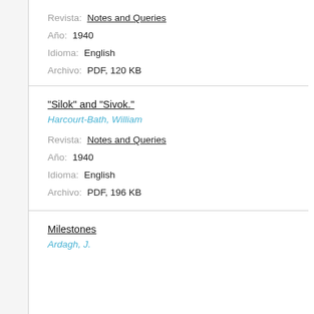Revista: Notes and Queries
Año: 1940
Idioma: English
Archivo: PDF, 120 KB
"Silok" and "Sivok."
Harcourt-Bath, William
Revista: Notes and Queries
Año: 1940
Idioma: English
Archivo: PDF, 196 KB
Milestones
Ardagh, J.